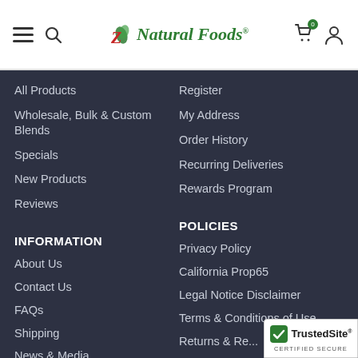Z Natural Foods logo with navigation icons (hamburger menu, search, cart, user account)
All Products
Wholesale, Bulk & Custom Blends
Specials
New Products
Reviews
Register
My Address
Order History
Recurring Deliveries
Rewards Program
INFORMATION
POLICIES
About Us
Contact Us
FAQs
Shipping
News & Media
Vendors
Privacy Policy
California Prop65
Legal Notice Disclaimer
Terms & Conditions of Use
Returns & Re...
Accessibility
[Figure (logo): TrustedSite Certified Secure badge with green checkmark]